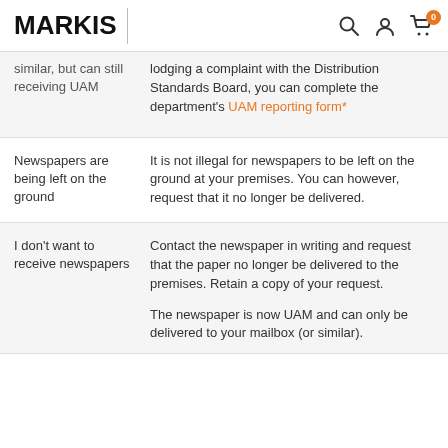MARKIS
| Issue | Response |
| --- | --- |
| similar, but can still receiving UAM | lodging a complaint with the Distribution Standards Board, you can complete the department's UAM reporting form* |
| Newspapers are being left on the ground | It is not illegal for newspapers to be left on the ground at your premises. You can however, request that it no longer be delivered. |
|  | Contact the newspaper in writing and request that the paper no longer be delivered to the premises. Retain a copy of your request.

The newspaper is now UAM and can only be delivered to your mailbox (or similar). |
| I don't want to receive newspapers |  |